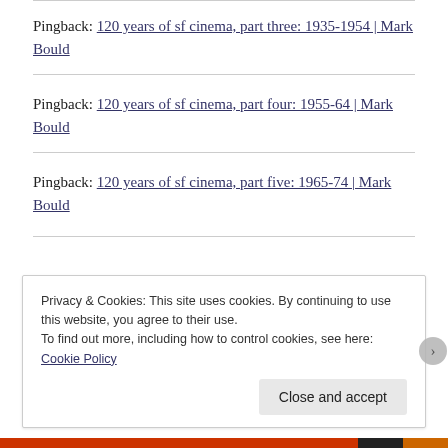Pingback: 120 years of sf cinema, part three: 1935-1954 | Mark Bould
Pingback: 120 years of sf cinema, part four: 1955-64 | Mark Bould
Pingback: 120 years of sf cinema, part five: 1965-74 | Mark Bould
Privacy & Cookies: This site uses cookies. By continuing to use this website, you agree to their use.
To find out more, including how to control cookies, see here: Cookie Policy